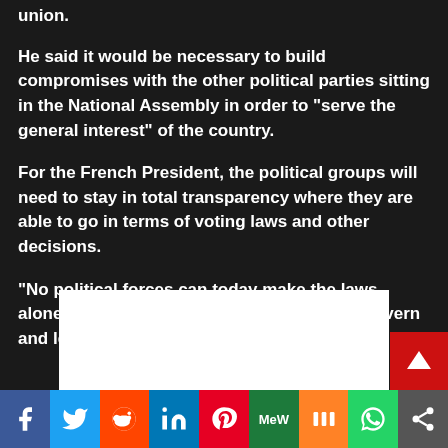union.
He said it would be necessary to build compromises with the other political parties sitting in the National Assembly in order to “serve the general interest” of the country.
For the French President, the political groups will need to stay in total transparency where they are able to go in terms of voting laws and other decisions.
“No political forces can today make the laws alone,” he said, adding: “We must learn to govern and legislate differently.”
[Figure (other): White advertisement box with red corner button containing an up arrow icon]
[Figure (infographic): Social media sharing bar with icons for Facebook, Twitter, Reddit, LinkedIn, Pinterest, MeWe, Mix, WhatsApp, and Share]